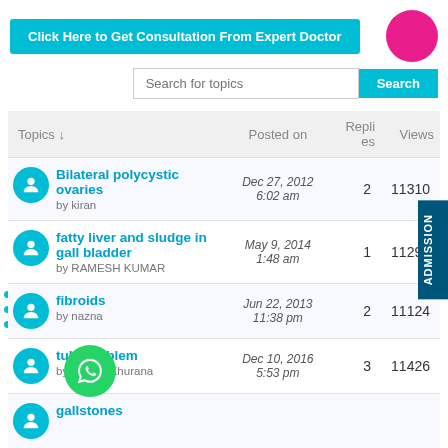Click Here to Get Consultation From Expert Doctor
Search for topics
| Topics ↓ | Posted on | Replies | Views |
| --- | --- | --- | --- |
| Bilateral polycystic ovaries
by kiran | Dec 27, 2012 6:02 am | 2 | 11310 |
| fatty liver and sludge in gall bladder
by RAMESH KUMAR | May 9, 2014 1:48 am | 1 | 11293 |
| fibroids
by nazna | Jun 22, 2013 11:38 pm | 2 | 11124 |
| ...tula Problem
by Madan Khurana | Dec 10, 2016 5:53 pm | 3 | 11426 |
| gallstones |  |  |  |
ADMISSION